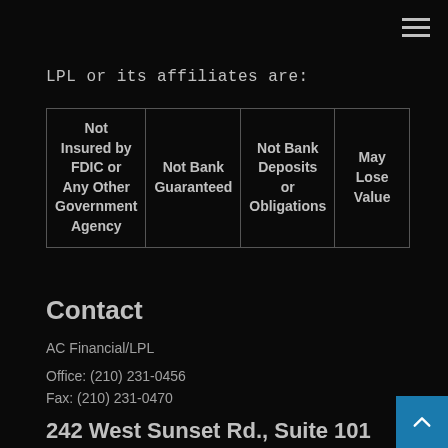LPL or its affiliates are:
| Not Insured by FDIC or Any Other Government Agency | Not Bank Guaranteed | Not Bank Deposits or Obligations | May Lose Value |
Contact
AC Financial/LPL
Office:  (210) 231-0456
Fax: (210) 231-0470
242 West Sunset Rd., Suite 101